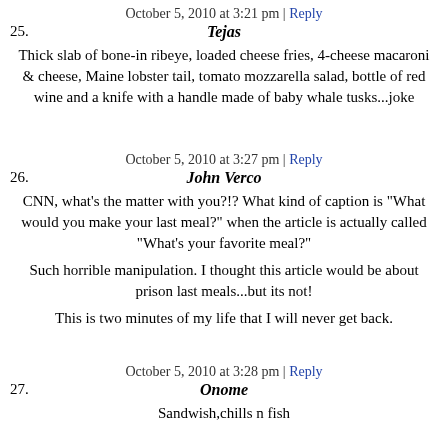October 5, 2010 at 3:21 pm | Reply
25. Tejas
Thick slab of bone-in ribeye, loaded cheese fries, 4-cheese macaroni & cheese, Maine lobster tail, tomato mozzarella salad, bottle of red wine and a knife with a handle made of baby whale tusks...joke
October 5, 2010 at 3:27 pm | Reply
26. John Verco
CNN, what's the matter with you?!? What kind of caption is "What would you make your last meal?" when the article is actually called "What's your favorite meal?"
Such horrible manipulation. I thought this article would be about prison last meals...but its not!
This is two minutes of my life that I will never get back.
October 5, 2010 at 3:28 pm | Reply
27. Onome
Sandwish,chills n fish